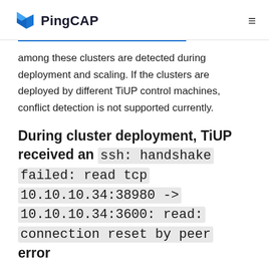PingCAP
among these clusters are detected during deployment and scaling. If the clusters are deployed by different TiUP control machines, conflict detection is not supported currently.
During cluster deployment, TiUP received an ssh: handshake failed: read tcp 10.10.10.34:38980 -> 10.10.10.34:3600: read: connection reset by peer error